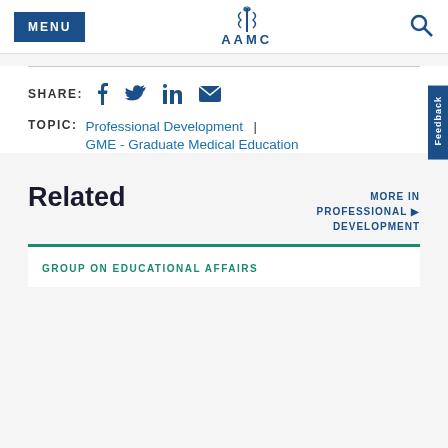MENU | AAMC
SHARE: [facebook] [twitter] [linkedin] [email]
TOPIC: Professional Development | GME - Graduate Medical Education
Related
MORE IN PROFESSIONAL DEVELOPMENT ▶
GROUP ON EDUCATIONAL AFFAIRS